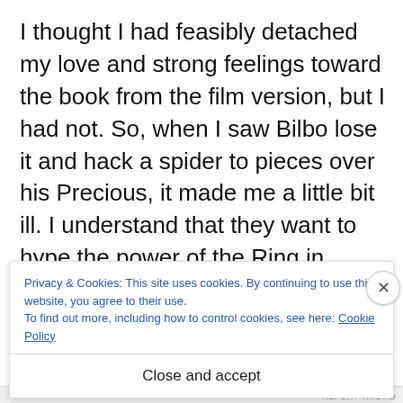I thought I had feasibly detached my love and strong feelings toward the book from the film version, but I had not. So, when I saw Bilbo lose it and hack a spider to pieces over his Precious, it made me a little bit ill. I understand that they want to hype the power of the Ring in anticipation of LOTR, and Tolkien had no idea what the Ring was when he first wrote The Hobbit, but it doesn't
Privacy & Cookies: This site uses cookies. By continuing to use this website, you agree to their use.
To find out more, including how to control cookies, see here: Cookie Policy
Close and accept